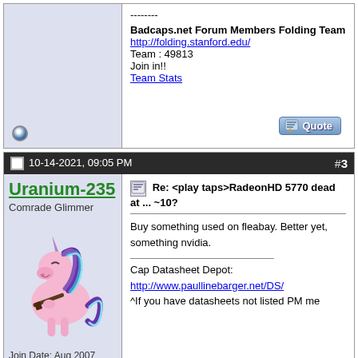--------
Badcaps.net Forum Members Folding Team
http://folding.stanford.edu/
Team : 49813
Join in!!
Team Stats
10-14-2021, 09:05 PM  #3
Uranium-235
Comrade Glimmer
Join Date: Aug 2007
City & State: tehas
My Country: US
Line Voltage: 120VAC 60Hz
I'm a: Professional Tech
Posts: 4,849
Re: <play taps>RadeonHD 5770 dead at ... ~10?
Buy something used on fleabay. Better yet, something nvidia.
Cap Datasheet Depot:
http://www.paullinebarger.net/DS/
^If you have datasheets not listed PM me